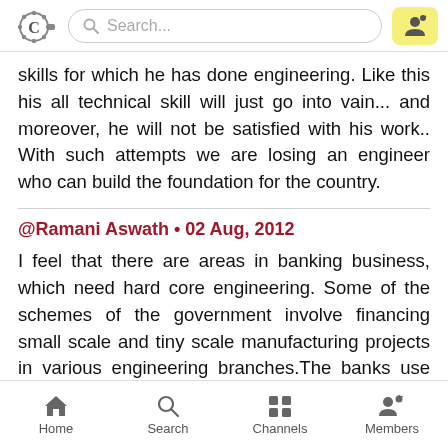Search...
skills for which he has done engineering. Like this his all technical skill will just go into vain... and moreover, he will not be satisfied with his work.. With such attempts we are losing an engineer who can build the foundation for the country.
@Ramani Aswath • 02 Aug, 2012
I feel that there are areas in banking business, which need hard core engineering. Some of the schemes of the government involve financing small scale and tiny scale manufacturing projects in various engineering branches.The banks use engineering officers to audit and monitor these
Home  Search  Channels  Members